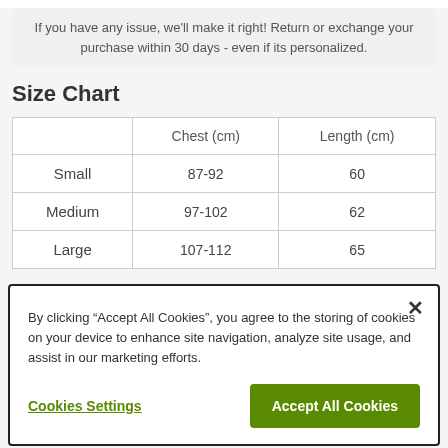If you have any issue, we'll make it right! Return or exchange your purchase within 30 days - even if its personalized.
Size Chart
|  | Chest (cm) | Length (cm) |
| --- | --- | --- |
| Small | 87-92 | 60 |
| Medium | 97-102 | 62 |
| Large | 107-112 | 65 |
By clicking “Accept All Cookies”, you agree to the storing of cookies on your device to enhance site navigation, analyze site usage, and assist in our marketing efforts.
Cookies Settings
Accept All Cookies